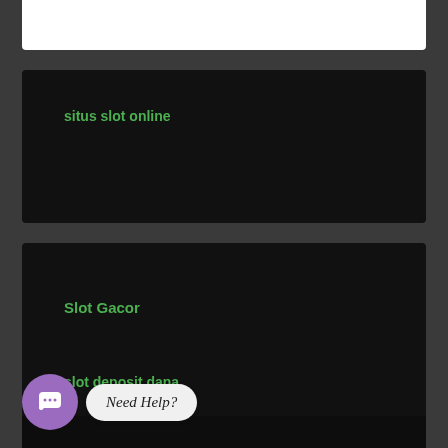[Figure (screenshot): Partial white card at top of page, cropped]
situs slot online
Slot Gacor
slot deposit dana
[Figure (other): Chat widget with purple circular button showing chat icon and 'Need Help?' speech bubble label]